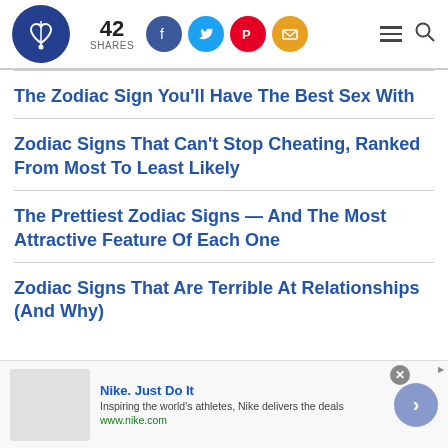42 SHARES — social share bar with Facebook, Twitter, Pinterest, Email icons
The Zodiac Sign You'll Have The Best Sex With
Zodiac Signs That Can't Stop Cheating, Ranked From Most To Least Likely
The Prettiest Zodiac Signs — And The Most Attractive Feature Of Each One
Zodiac Signs That Are Terrible At Relationships (And Why)
Nike. Just Do It — Inspiring the world's athletes, Nike delivers the deals — www.nike.com